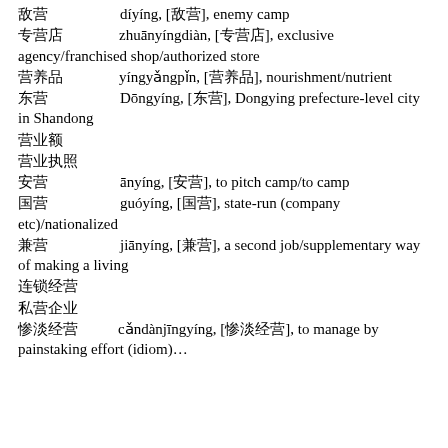敌营　díyíng, [敌营], enemy camp
专营店　zhuānyíngdiàn, [专营店], exclusive agency/franchised shop/authorized store
营养品　yíngyǎngpǐn, [营养品], nourishment/nutrient
东营　Dōngyíng, [东营], Dongying prefecture-level city in Shandong
营业额
营业执照
安营　ānyíng, [安营], to pitch camp/to camp
国营　guóyíng, [国营], state-run (company etc)/nationalized
兼营　jiānyíng, [兼营], a second job/supplementary way of making a living
连锁经营
私营企业
惨淡经营　cǎndànjīngyíng, [惨淡经营], to manage by painstaking effort (idiom)…